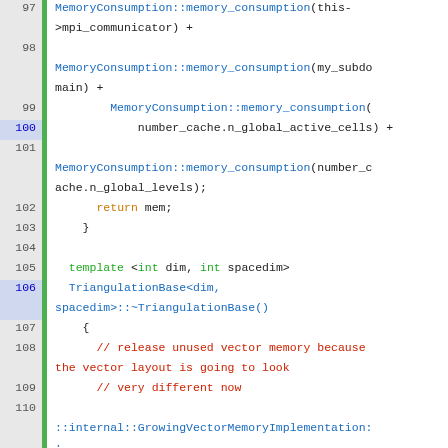Code listing showing C++ source lines 97-120, featuring MemoryConsumption::memory_consumption calls, template definitions for TriangulationBase, destructor and NumberCache constructor, and GrowingVectorMemoryImplementation::release_all_unused_memory() call.